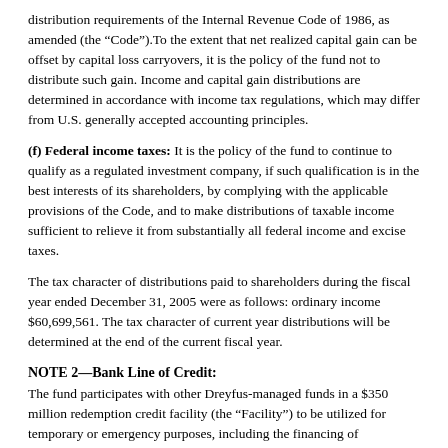distribution requirements of the Internal Revenue Code of 1986, as amended (the “Code”).To the extent that net realized capital gain can be offset by capital loss carryovers, it is the policy of the fund not to distribute such gain. Income and capital gain distributions are determined in accordance with income tax regulations, which may differ from U.S. generally accepted accounting principles.
(f) Federal income taxes: It is the policy of the fund to continue to qualify as a regulated investment company, if such qualification is in the best interests of its shareholders, by complying with the applicable provisions of the Code, and to make distributions of taxable income sufficient to relieve it from substantially all federal income and excise taxes.
The tax character of distributions paid to shareholders during the fiscal year ended December 31, 2005 were as follows: ordinary income $60,699,561. The tax character of current year distributions will be determined at the end of the current fiscal year.
NOTE 2—Bank Line of Credit:
The fund participates with other Dreyfus-managed funds in a $350 million redemption credit facility (the “Facility”) to be utilized for temporary or emergency purposes, including the financing of redemptions. In connection therewith, the fund has agreed to pay commitment fees on its pro rata portion of the Facility. Interest is charged to the fund based on prevailing market rates in